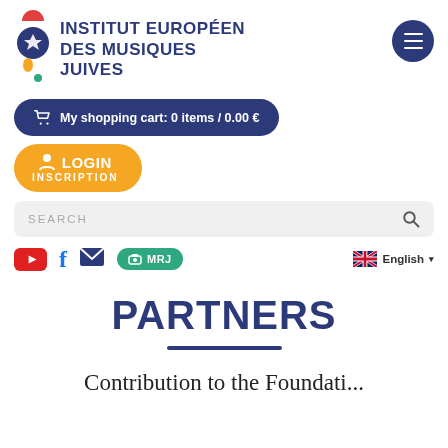[Figure (logo): Institut Européen des Musiques Juives logo with colored segments and Star of David]
INSTITUT EUROPÉEN DES MUSIQUES JUIVES
[Figure (other): Hamburger menu icon in a dark blue circle]
My shopping cart: 0 items / 0.00 €
LOGIN
INSCRIPTION
SEARCH
[Figure (logo): Social media icons row: YouTube, Facebook, Email, MRJ radio, English language selector with UK flag]
PARTNERS
Contribution to the Foundation...